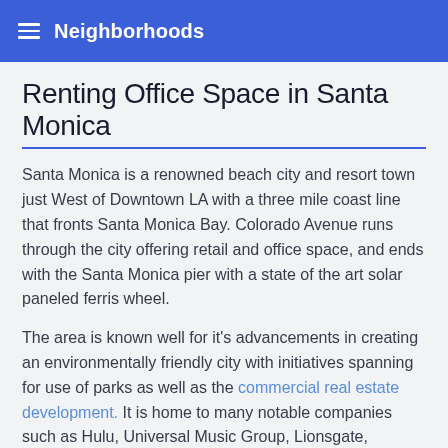Neighborhoods
Renting Office Space in Santa Monica
Santa Monica is a renowned beach city and resort town just West of Downtown LA with a three mile coast line that fronts Santa Monica Bay. Colorado Avenue runs through the city offering retail and office space, and ends with the Santa Monica pier with a state of the art solar paneled ferris wheel.
The area is known well for it’s advancements in creating an environmentally friendly city with initiatives spanning for use of parks as well as the commercial real estate development. It is home to many notable companies such as Hulu, Universal Music Group, Lionsgate, Beachbody and TenantBase!